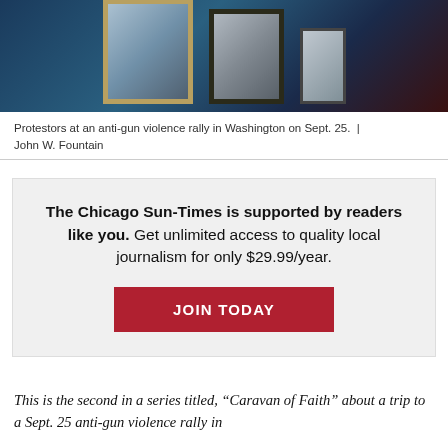[Figure (photo): Photo showing protestors at an anti-gun violence rally holding framed portraits, with a blue-toned color palette.]
Protestors at an anti-gun violence rally in Washington on Sept. 25. | John W. Fountain
The Chicago Sun-Times is supported by readers like you. Get unlimited access to quality local journalism for only $29.99/year.
JOIN TODAY
This is the second in a series titled, “Caravan of Faith” about a trip to a Sept. 25 anti-gun violence rally in